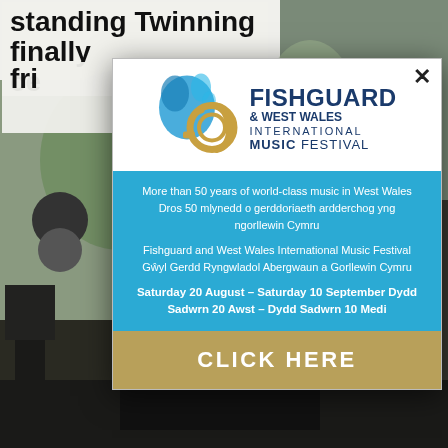[Figure (screenshot): Background showing partial news article headline 'standing Twinning finally celebrates 40 years of friendship' and outdoor event photo with speakers and people]
[Figure (logo): Fishguard & West Wales International Music Festival logo with decorative wave/splash graphic in blue and a French horn in gold]
More than 50 years of world-class music in West Wales
Dros 50 mlynedd o gerddoriaeth ardderchog yng ngorllewin Cymru
Fishguard and West Wales International Music Festival
Gŵyl Gerdd Ryngwladol Abergwaun a Gorllewin Cymru
Saturday 20 August - Saturday 10 September Dydd Sadwrn 20 Awst - Dydd Sadwrn 10 Medi
CLICK HERE